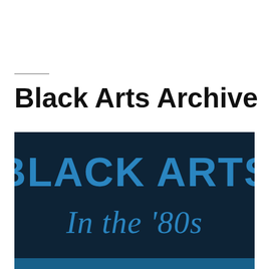Black Arts Archive
[Figure (illustration): Dark navy blue background with the text 'BLACK ARTS' in large bold blue letters and 'In the '80s' in a blue cursive/script font below it. The image is cropped showing the top portion of what appears to be a book or poster cover.]